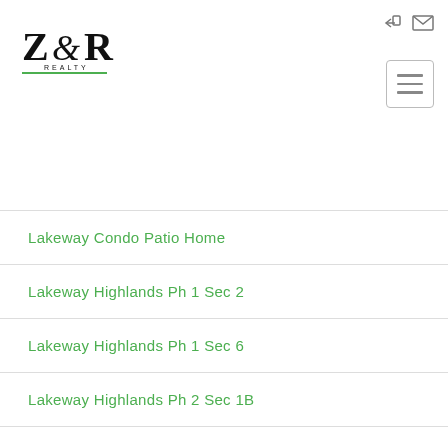[Figure (logo): Z&R Realty logo with stylized ampersand and green underline]
Lakeway Condo Patio Home
Lakeway Highlands Ph 1 Sec 2
Lakeway Highlands Ph 1 Sec 6
Lakeway Highlands Ph 2 Sec 1B
Lakeway Sec 03
Lakeway Sec 11
Lakeway Sec 13
Lakeway Sec 14